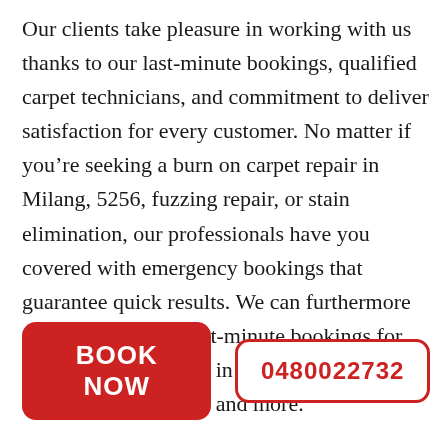Our clients take pleasure in working with us thanks to our last-minute bookings, qualified carpet technicians, and commitment to deliver satisfaction for every customer. No matter if you’re seeking a burn on carpet repair in Milang, 5256, fuzzing repair, or stain elimination, our professionals have you covered with emergency bookings that guarantee quick results. We can furthermore offer support with last-minute bookings for carpet odour removal in Milang, carpet sprouting restoration, and more.
BOOK NOW
0480022732